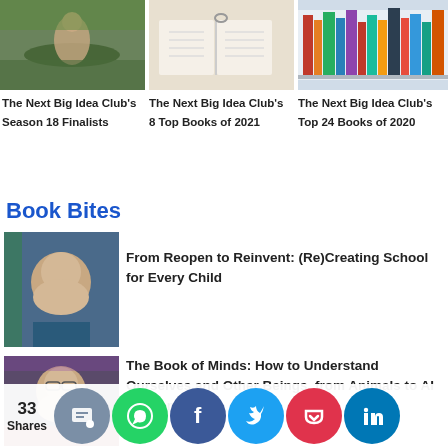[Figure (photo): Person reading in a hammock outdoors]
[Figure (photo): Open book from above]
[Figure (photo): Colorful books on a shelf]
The Next Big Idea Club's Season 18 Finalists
The Next Big Idea Club's 8 Top Books of 2021
The Next Big Idea Club's Top 24 Books of 2020
Book Bites
[Figure (photo): Author headshot for From Reopen to Reinvent]
From Reopen to Reinvent: (Re)Creating School for Every Child
[Figure (photo): Author headshot for The Book of Minds]
The Book of Minds: How to Understand Ourselves and Other Beings, from Animals to AI to Aliens
[Figure (photo): Author headshot for Transformer]
Transformer: The Deep Chemistry of Life and Dea
33 Shares